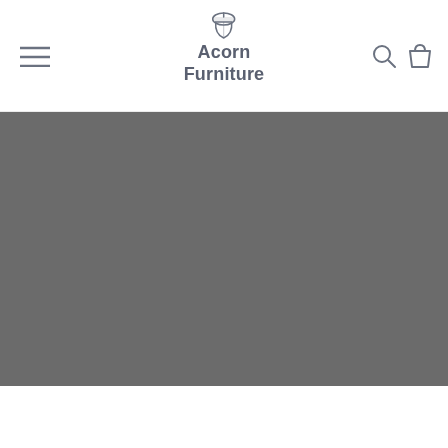Acorn Furniture
[Figure (photo): Dark grey hero image placeholder showing a furniture scene, approximately 448x274px]